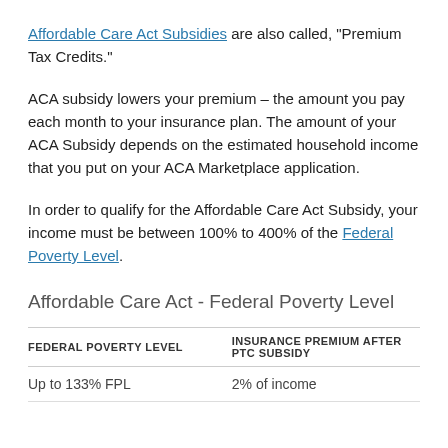Affordable Care Act Subsidies are also called, "Premium Tax Credits."
ACA subsidy lowers your premium – the amount you pay each month to your insurance plan. The amount of your ACA Subsidy depends on the estimated household income that you put on your ACA Marketplace application.
In order to qualify for the Affordable Care Act Subsidy, your income must be between 100% to 400% of the Federal Poverty Level.
Affordable Care Act - Federal Poverty Level
| FEDERAL POVERTY LEVEL | INSURANCE PREMIUM AFTER PTC SUBSIDY |
| --- | --- |
| Up to 133% FPL | 2% of income |